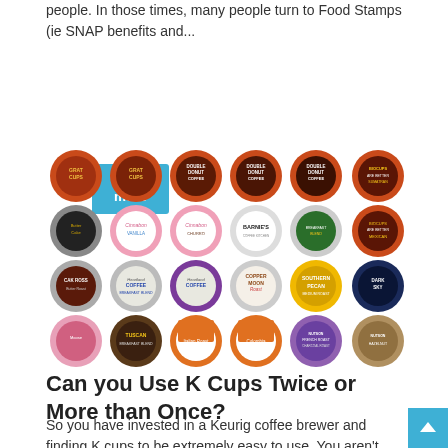people. In those times, many people turn to Food Stamps (ie SNAP benefits and...
Read more
[Figure (photo): Grid of various K-Cup coffee pod brands including Grat Cups, Double Donut Coffee, BioCups, Barnie's, Copper Moon Roast, Southern Pecan, Dark Sky, Tuscan, and others arranged in 4 rows of 6 pods each.]
Can you Use K Cups Twice or More than Once?
So you have invested in a Keurig coffee brewer and finding K cups to be extremely easy to use. You aren't alone. Many